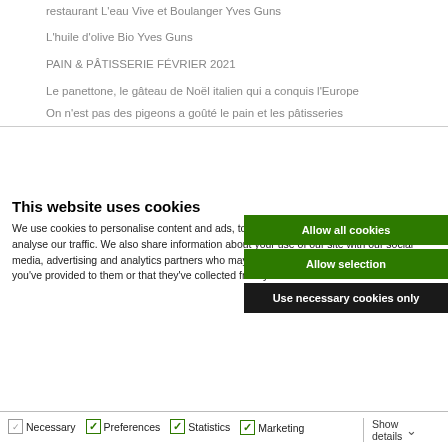restaurant L'eau Vive et Boulanger Yves Guns
L'huile d'olive Bio Yves Guns
PAIN & PÂTISSERIE FÉVRIER 2021
Le panettone, le gâteau de Noël italien qui a conquis l'Europe
On n'est pas des pigeons a goûté le pain et les pâtisseries
This website uses cookies
We use cookies to personalise content and ads, to provide social media features and to analyse our traffic. We also share information about your use of our site with our social media, advertising and analytics partners who may combine it with other information that you've provided to them or that they've collected from your use of their services.
Allow all cookies
Allow selection
Use necessary cookies only
Necessary  Preferences  Statistics  Marketing  Show details